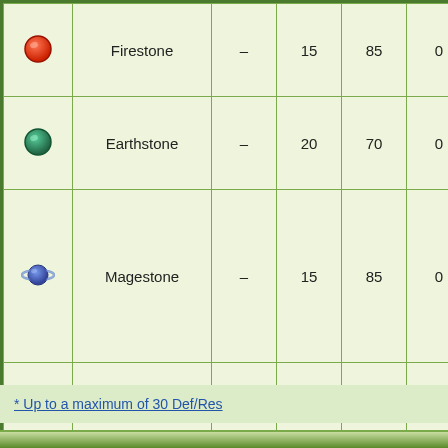| Icon | Name | – | 15/20/18 | 85/70/100 | 0 | 1~ |
| --- | --- | --- | --- | --- | --- | --- |
| [firestone icon] | Firestone | – | 15 | 85 | 0 | 1~ |
| [earthstone icon] | Earthstone | – | 20 | 70 | 0 | 1~ |
| [magestone icon] | Magestone | – | 15 | 85 | 0 | 1 |
| [divinestone icon] | Divinestone | – | 18 | 100 | 0 | 1 |
* Up to a maximum of 30 Def/Res